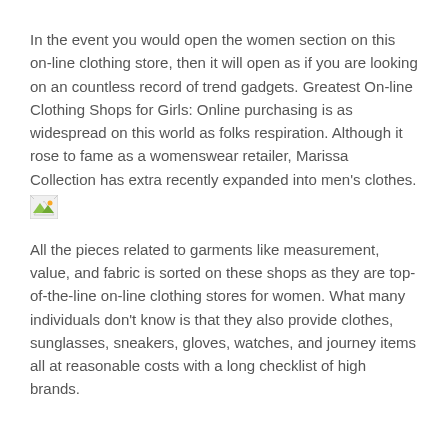In the event you would open the women section on this on-line clothing store, then it will open as if you are looking on an countless record of trend gadgets. Greatest On-line Clothing Shops for Girls: Online purchasing is as widespread on this world as folks respiration. Although it rose to fame as a womenswear retailer, Marissa Collection has extra recently expanded into men's clothes.
[Figure (illustration): Small broken/placeholder image icon with green triangle element]
All the pieces related to garments like measurement, value, and fabric is sorted on these shops as they are top-of-the-line on-line clothing stores for women. What many individuals don't know is that they also provide clothes, sunglasses, sneakers, gloves, watches, and journey items all at reasonable costs with a long checklist of high brands.